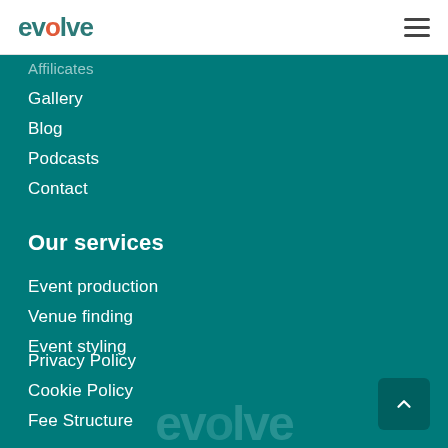evolve
Gallery
Blog
Podcasts
Contact
Our services
Event production
Venue finding
Event styling
Privacy Policy
Cookie Policy
Fee Structure